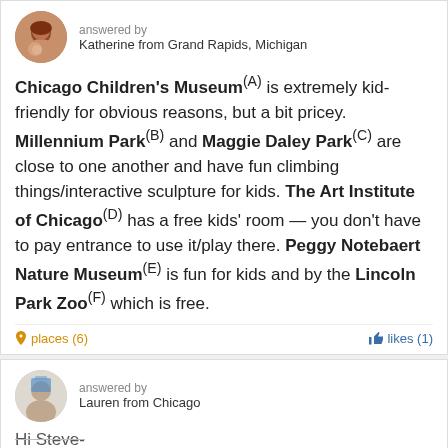answered by
Katherine from Grand Rapids, Michigan
Chicago Children's Museum(A) is extremely kid-friendly for obvious reasons, but a bit pricey. Millennium Park(B) and Maggie Daley Park(C) are close to one another and have fun climbing things/interactive sculpture for kids. The Art Institute of Chicago(D) has a free kids' room — you don't have to pay entrance to use it/play there. Peggy Notebaert Nature Museum(E) is fun for kids and by the Lincoln Park Zoo(F) which is free.
places (6)
likes (1)
answered by
Lauren from Chicago
Hi Steve-
On a nice day you can head over to Maggie Daley